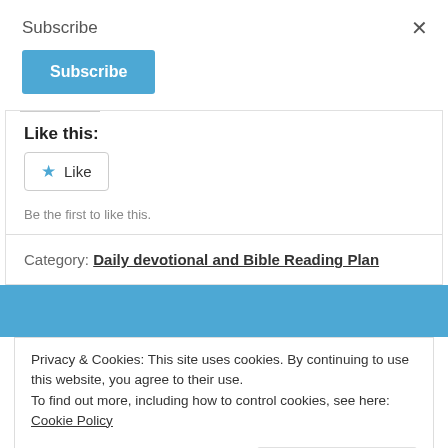Subscribe
[Figure (screenshot): Blue Subscribe button]
Like this:
[Figure (screenshot): Like button with blue star icon]
Be the first to like this.
Category: Daily devotional and Bible Reading Plan
Privacy & Cookies: This site uses cookies. By continuing to use this website, you agree to their use.
To find out more, including how to control cookies, see here: Cookie Policy
[Figure (screenshot): Close and accept button]